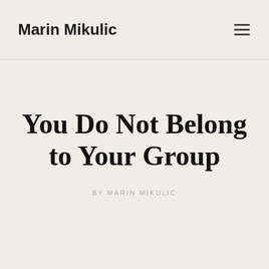Marin Mikulic
You Do Not Belong to Your Group
BY MARIN MIKULIC